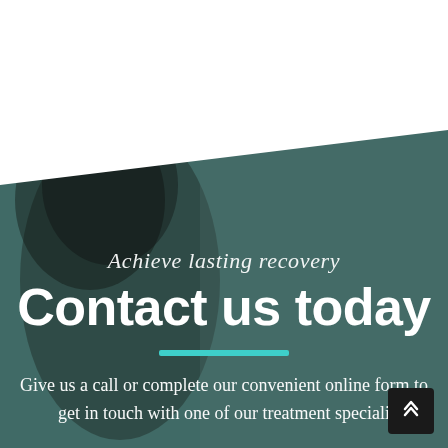[Figure (photo): Background image of a person (blurred/teal-tinted) with a white diagonal shape covering the top portion of the page and a teal-green overlay on the photo below.]
Achieve lasting recovery
Contact us today
Give us a call or complete our convenient online form to get in touch with one of our treatment speciali…